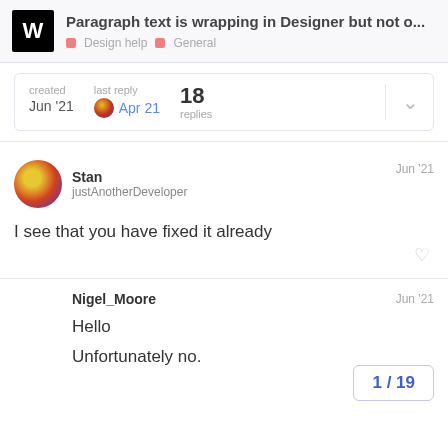Paragraph text is wrapping in Designer but not o... | Design help | General
| created | last reply | replies |  |
| --- | --- | --- | --- |
| Jun '21 | Apr 21 | 18 | v |
Stan
justAnotherDeveloper
Jun '21
I see that you have fixed it already
Nigel_Moore
Jun '21
Hello

Unfortunately no.
1 / 19